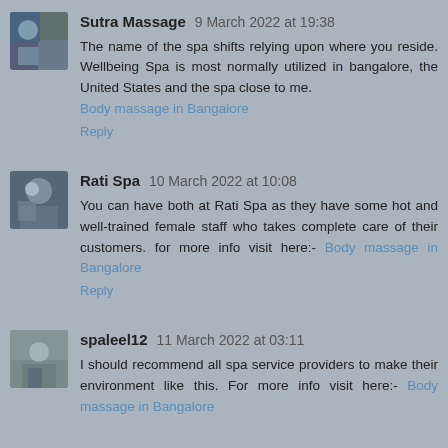Sutra Massage 9 March 2022 at 19:38
The name of the spa shifts relying upon where you reside. Wellbeing Spa is most normally utilized in bangalore, the United States and the spa close to me. Body massage in Bangalore
Reply
Rati Spa 10 March 2022 at 10:08
You can have both at Rati Spa as they have some hot and well-trained female staff who takes complete care of their customers. for more info visit here:- Body massage in Bangalore
Reply
spaleel12 11 March 2022 at 03:11
I should recommend all spa service providers to make their environment like this. For more info visit here:- Body massage in Bangalore